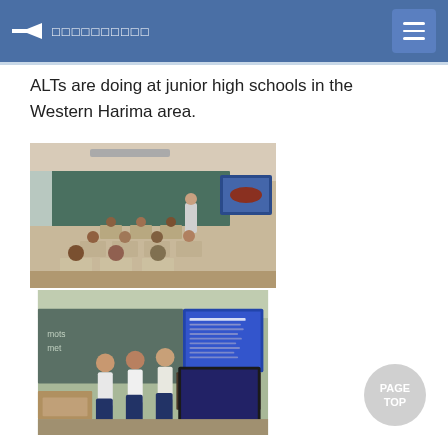（Japanese characters） [navigation header with back arrow and menu]
ALTs are doing at junior high schools in the Western Harima area.
[Figure (photo): Classroom scene showing students seated at desks facing a teacher standing at the front near a chalkboard, with a presentation screen showing an image (appears to be Uluru/Ayers Rock). Students are wearing school uniforms (white shirts, dark skirts/pants).]
[Figure (photo): A group of students (three girls in school uniforms) standing and talking or doing an activity in front of a chalkboard and a presentation screen showing text slides. A teacher is visible in the background.]